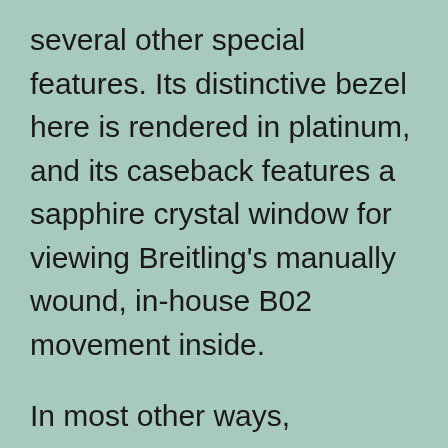several other special features. Its distinctive bezel here is rendered in platinum, and its caseback features a sapphire crystal window for viewing Breitling's manually wound, in-house B02 movement inside.
In most other ways, however, this is a faithful reproduction of the original watch and easily recognizable as a Navitimer. Its 41mm sizing is perfect, if you ask us. The 2022 China replica Breitling Navitimer B02 Chronograph 41 Cosmonaute watches is limited to 362 examples and available for preorder now at a price of $11,200.